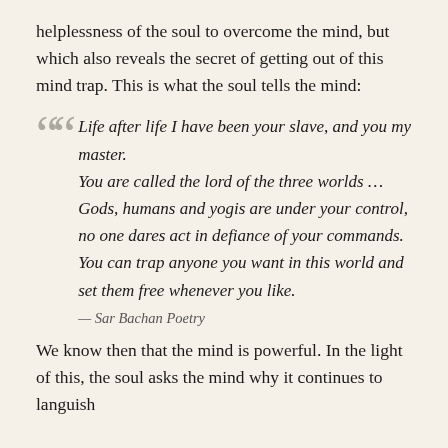helplessness of the soul to overcome the mind, but which also reveals the secret of getting out of this mind trap. This is what the soul tells the mind:
Life after life I have been your slave, and you my master.
You are called the lord of the three worlds …
Gods, humans and yogis are under your control,
no one dares act in defiance of your commands.
You can trap anyone you want in this world and set them free whenever you like.
— Sar Bachan Poetry
We know then that the mind is powerful. In the light of this, the soul asks the mind why it continues to languish